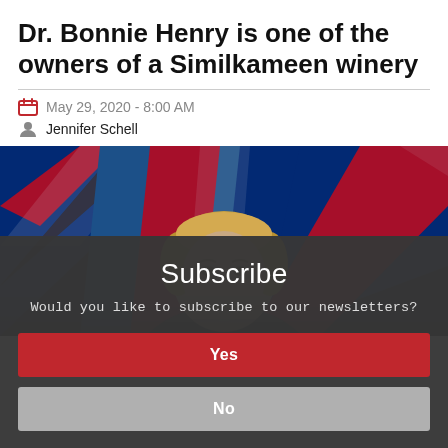Dr. Bonnie Henry is one of the owners of a Similkameen winery
May 29, 2020 - 8:00 AM
Jennifer Schell
[Figure (photo): Photo of Dr. Bonnie Henry speaking at a podium with British Columbia flags in the background]
Subscribe
Would you like to subscribe to our newsletters?
Yes
No